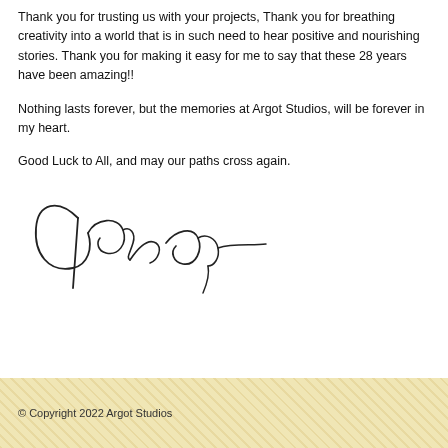Thank you for trusting us with your projects, Thank you for breathing creativity into a world that is in such need to hear positive and nourishing stories. Thank you for making it easy for me to say that these 28 years have been amazing!!
Nothing lasts forever, but the memories at Argot Studios, will be forever in my heart.
Good Luck to All, and may our paths cross again.
[Figure (illustration): Handwritten cursive signature in black ink]
© Copyright 2022 Argot Studios